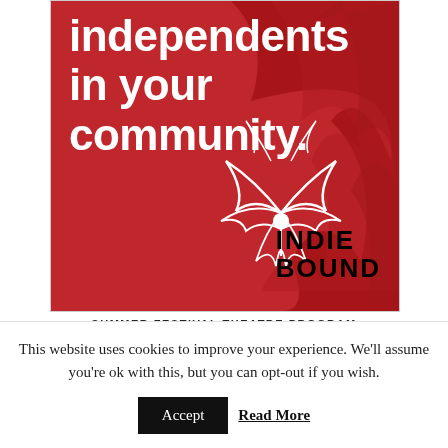[Figure (illustration): IndieBound advertisement on red background with white brushstroke texture. Bold white text reads 'independents in your community.' with IndieBound logo (stylized figure with books) and INDIE BOUND wordmark in black at bottom right.]
SUMMER FESTIVAL THEATRE PROGRAM
This website uses cookies to improve your experience. We'll assume you're ok with this, but you can opt-out if you wish.
Accept
Read More